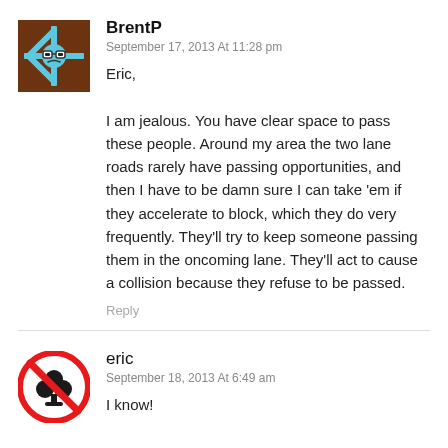[Figure (illustration): Avatar icon for user BrentP: blue snowflake/gear character with glasses on brown background]
BrentP
September 17, 2013 At 11:28 pm
Eric,

I am jealous. You have clear space to pass these people. Around my area the two lane roads rarely have passing opportunities, and then I have to be damn sure I can take 'em if they accelerate to block, which they do very frequently. They'll try to keep someone passing them in the oncoming lane. They'll act to cause a collision because they refuse to be passed.
Reply
[Figure (illustration): Avatar icon for user eric: red circle with diagonal bar over black club/clover symbol (no clubs sign)]
eric
September 18, 2013 At 6:49 am
I know!